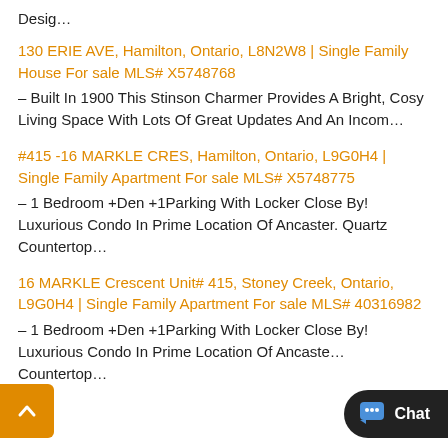Desig…
130 ERIE AVE, Hamilton, Ontario, L8N2W8 | Single Family House For sale MLS# X5748768 – Built In 1900 This Stinson Charmer Provides A Bright, Cosy Living Space With Lots Of Great Updates And An Incom…
#415 -16 MARKLE CRES, Hamilton, Ontario, L9G0H4 | Single Family Apartment For sale MLS# X5748775 – 1 Bedroom +Den +1Parking With Locker Close By! Luxurious Condo In Prime Location Of Ancaster. Quartz Countertop…
16 MARKLE Crescent Unit# 415, Stoney Creek, Ontario, L9G0H4 | Single Family Apartment For sale MLS# 40316982 – 1 Bedroom +Den +1Parking With Locker Close By! Luxurious Condo In Prime Location Of Ancaste… Countertop…